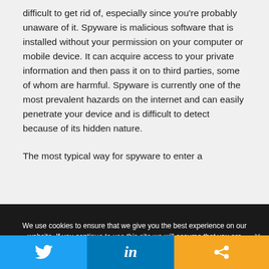difficult to get rid of, especially since you're probably unaware of it. Spyware is malicious software that is installed without your permission on your computer or mobile device. It can acquire access to your private information and then pass it on to third parties, some of whom are harmful. Spyware is currently one of the most prevalent hazards on the internet and can easily penetrate your device and is difficult to detect because of its hidden nature.

The most typical way for spyware to enter a
We use cookies to ensure that we give you the best experience on our website. If you continue to use this site we will assume that you are happy with it.